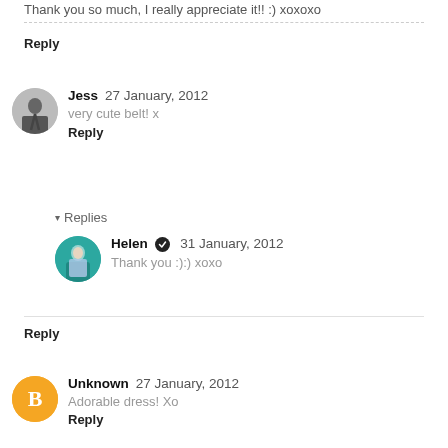Thank you so much, I really appreciate it!! :) xoxoxo
Reply
Jess  27 January, 2012
very cute belt! x
Reply
▾ Replies
Helen ✔ 31 January, 2012
Thank you :):) xoxo
Reply
Unknown  27 January, 2012
Adorable dress! Xo
Reply